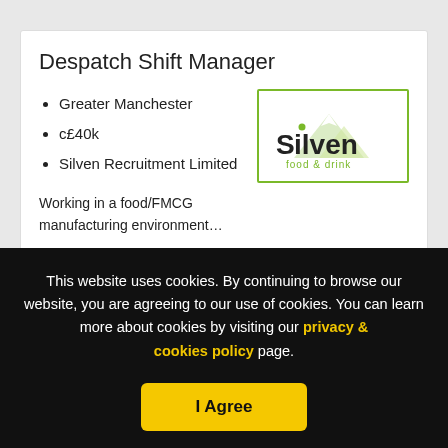Despatch Shift Manager
Greater Manchester
c£40k
Silven Recruitment Limited
[Figure (logo): Silven food & drink company logo, green mountain graphic with Silven text]
Working in a food/FMCG manufacturing environment…
View details
13 days ago
Save
This website uses cookies. By continuing to browse our website, you are agreeing to our use of cookies. You can learn more about cookies by visiting our privacy & cookies policy page.
I Agree